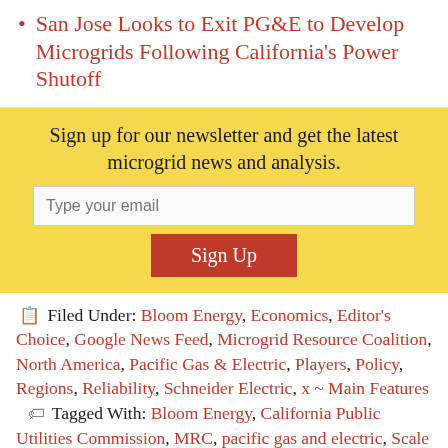San Jose Looks to Exit PG&E to Develop Microgrids Following California's Power Shutoff
Sign up for our newsletter and get the latest microgrid news and analysis.
Filed Under: Bloom Energy, Economics, Editor's Choice, Google News Feed, Microgrid Resource Coalition, North America, Pacific Gas & Electric, Players, Policy, Regions, Reliability, Schneider Electric, x ~ Main Features   Tagged With: Bloom Energy, California Public Utilities Commission, MRC, pacific gas and electric, Scale Microgrid, Schneider Electric